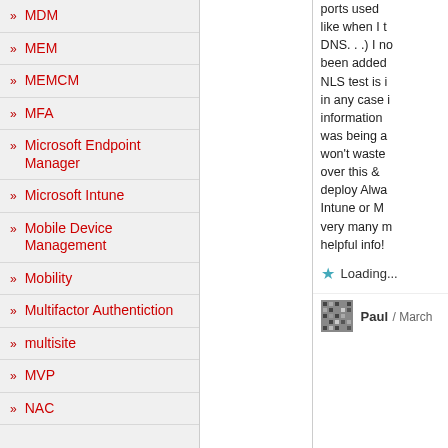MDM
MEM
MEMCM
MFA
Microsoft Endpoint Manager
Microsoft Intune
Mobile Device Management
Mobility
Multifactor Authentiction
multisite
MVP
NAC
ports used like when I t DNS...) I no been added NLS test is i in any case information was being a won't waste over this & deploy Alwa Intune or M very many m helpful info!
Loading...
Paul / March